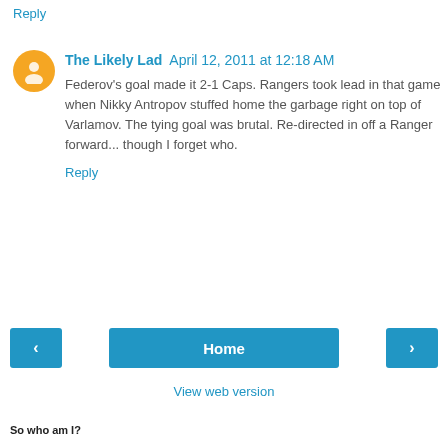Reply
The Likely Lad  April 12, 2011 at 12:18 AM
Federov's goal made it 2-1 Caps. Rangers took lead in that game when Nikky Antropov stuffed home the garbage right on top of Varlamov. The tying goal was brutal. Re-directed in off a Ranger forward... though I forget who.
Reply
Home
View web version
So who am I?